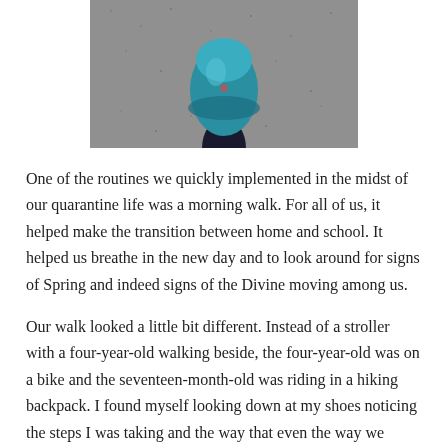[Figure (photo): Top-down photo of a person's foot wearing a teal/blue sneaker, standing on a gray asphalt or paved surface, viewed from above.]
One of the routines we quickly implemented in the midst of our quarantine life was a morning walk. For all of us, it helped make the transition between home and school. It helped us breathe in the new day and to look around for signs of Spring and indeed signs of the Divine moving among us.
Our walk looked a little bit different. Instead of a stroller with a four-year-old walking beside, the four-year-old was on a bike and the seventeen-month-old was riding in a hiking backpack. I found myself looking down at my shoes noticing the steps I was taking and the way that even the way we started this life in the midst of a global pandemic is